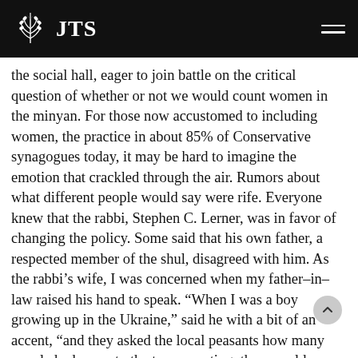JTS
the social hall, eager to join battle on the critical question of whether or not we would count women in the minyan. For those now accustomed to including women, the practice in about 85% of Conservative synagogues today, it may be hard to imagine the emotion that crackled through the air. Rumors about what different people would say were rife. Everyone knew that the rabbi, Stephen C. Lerner, was in favor of changing the policy. Some said that his own father, a respected member of the shul, disagreed with him. As the rabbi’s wife, I was concerned when my father–in–law raised his hand to speak. “When I was a boy growing up in the Ukraine,” said he with a bit of an accent, “and they asked the local peasants how many people had come to the town meeting, they would say twenty people and ten Jews. I think that we should stop counting that way.” The congregation voted overwhelmingly in favor of including women in the minyan.